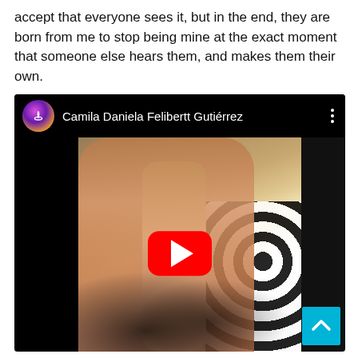accept that everyone sees it, but in the end, they are born from me to stop being mine at the exact moment that someone else hears them, and makes them their own.
[Figure (screenshot): Embedded YouTube video player screenshot showing a video by 'Camila Daniela Felibertt Gutiérrez'. The thumbnail shows a hand gripping what appears to be the neck of a guitar, with cables/wires visible below and a black-and-white patterned fabric on the right. A red YouTube play button is centered on the video. A cyan scroll-to-top button appears in the bottom right corner.]